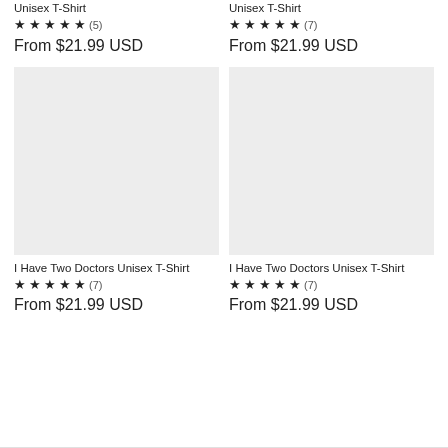Unisex T-Shirt
★ ★ ★ ★ ★ (5)
From $21.99 USD
Unisex T-Shirt
★ ★ ★ ★ ★ (7)
From $21.99 USD
[Figure (photo): Product image placeholder - light gray rectangle for I Have Two Doctors Unisex T-Shirt (left)]
[Figure (photo): Product image placeholder - light gray rectangle for I Have Two Doctors Unisex T-Shirt (right)]
I Have Two Doctors Unisex T-Shirt
★ ★ ★ ★ ★ (7)
From $21.99 USD
I Have Two Doctors Unisex T-Shirt
★ ★ ★ ★ ★ (7)
From $21.99 USD